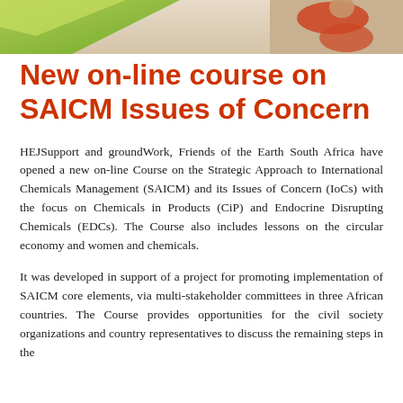[Figure (photo): Decorative header image with green gradient on left side and a person in red clothing on the right side against a beige background]
New on-line course on SAICM Issues of Concern
HEJSupport and groundWork, Friends of the Earth South Africa have opened a new on-line Course on the Strategic Approach to International Chemicals Management (SAICM) and its Issues of Concern (IoCs) with the focus on Chemicals in Products (CiP) and Endocrine Disrupting Chemicals (EDCs). The Course also includes lessons on the circular economy and women and chemicals.
It was developed in support of a project for promoting implementation of SAICM core elements, via multi-stakeholder committees in three African countries. The Course provides opportunities for the civil society organizations and country representatives to discuss the remaining steps in the